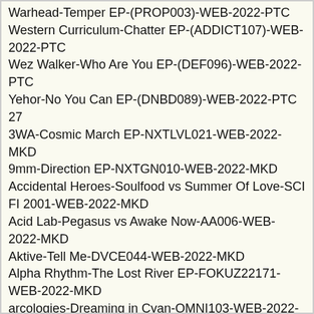Warhead-Temper EP-(PROP003)-WEB-2022-PTC
Western Curriculum-Chatter EP-(ADDICT107)-WEB-2022-PTC
Wez Walker-Who Are You EP-(DEF096)-WEB-2022-PTC
Yehor-No You Can EP-(DNBD089)-WEB-2022-PTC
27
3WA-Cosmic March EP-NXTLVL021-WEB-2022-MKD
9mm-Direction EP-NXTGN010-WEB-2022-MKD
Accidental Heroes-Soulfood vs Summer Of Love-SCI FI 2001-WEB-2022-MKD
Acid Lab-Pegasus vs Awake Now-AA006-WEB-2022-MKD
Aktive-Tell Me-DVCE044-WEB-2022-MKD
Alpha Rhythm-The Lost River EP-FOKUZ22171-WEB-2022-MKD
arcologies-Dreaming in Cyan-OMNI103-WEB-2022-MKD
Artsea-New Religion vs In Spirit-RETRO037-WEB-2022-MKD
Askel and Elere and Unglued-Off-Angle-(SV104DD)-WEB-2022-PTC
Askel and Elere-Off angle-SV104DD-WEB-2022-MKD
Banzai-Check-BRE020-WEB-2022-MKD
Basura-FKOFd056-FKOFD056-WEB-2022-MKD
PERRY SAM-YAMATNRES003-WEB-2022-MKD